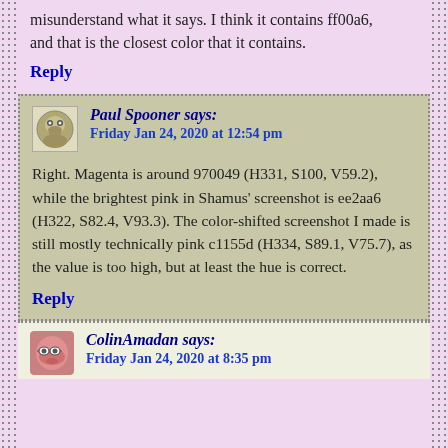misunderstand what it says. I think it contains ff00a6, and that is the closest color that it contains.
Reply
Paul Spooner says: Friday Jan 24, 2020 at 12:54 pm
Right. Magenta is around 970049 (H331, S100, V59.2), while the brightest pink in Shamus' screenshot is ee2aa6 (H322, S82.4, V93.3). The color-shifted screenshot I made is still mostly technically pink c1155d (H334, S89.1, V75.7), as the value is too high, but at least the hue is correct.
Reply
ColinAmadan says: Friday Jan 24, 2020 at 8:35 pm